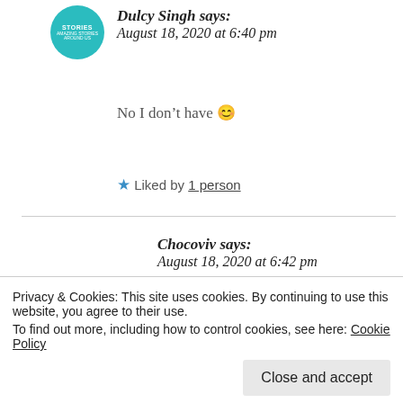[Figure (illustration): Circular avatar with teal/turquoise background and text 'STORIES']
Dulcy Singh says:
August 18, 2020 at 6:40 pm
No I don't have 😊
★ Liked by 1 person
Chocoviv says:
August 18, 2020 at 6:42 pm
Ok:)
August 18, 2020 at 7:11 pm
Privacy & Cookies: This site uses cookies. By continuing to use this website, you agree to their use.
To find out more, including how to control cookies, see here: Cookie Policy